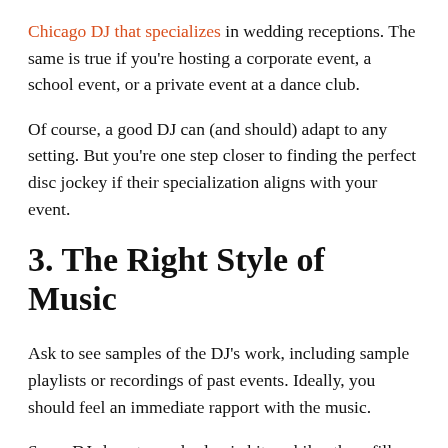Chicago DJ that specializes in wedding receptions. The same is true if you're hosting a corporate event, a school event, or a private event at a dance club.
Of course, a good DJ can (and should) adapt to any setting. But you're one step closer to finding the perfect disc jockey if their specialization aligns with your event.
3. The Right Style of Music
Ask to see samples of the DJ's work, including sample playlists or recordings of past events. Ideally, you should feel an immediate rapport with the music.
Some DJs lean towards classic hits, while others fill their playlists with the latest jams. Others specialize in hip-hop, country, or electronic music. Make sure they're well acquainted with (and have access to) the type of music you